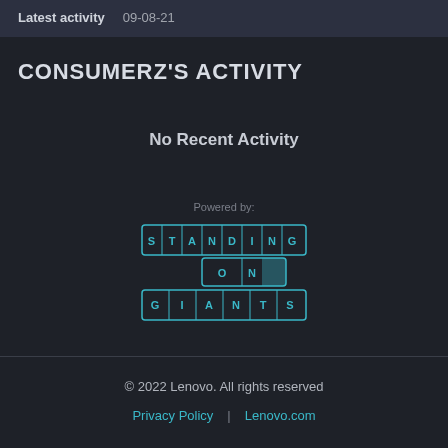Latest activity   09-08-21
CONSUMERZ'S ACTIVITY
No Recent Activity
[Figure (logo): Standing on Giants logo — stylized text logo with S T A N D I N G / O N / G I A N T S in bordered grid tiles, teal/cyan outlined]
© 2022 Lenovo. All rights reserved
Privacy Policy | Lenovo.com